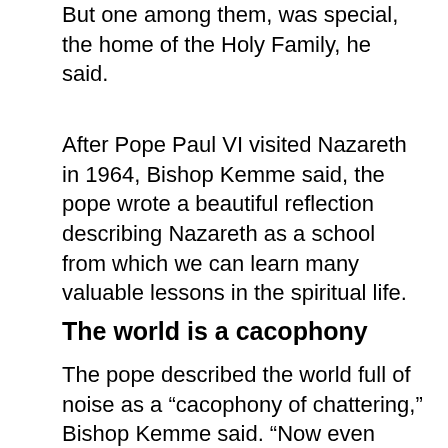But one among them, was special, the home of the Holy Family, he said.
After Pope Paul VI visited Nazareth in 1964, Bishop Kemme said, the pope wrote a beautiful reflection describing Nazareth as a school from which we can learn many valuable lessons in the spiritual life.
The world is a cacophony
The pope described the world full of noise as a “cacophony of chattering,” Bishop Kemme said. “Now even made more so by social media where our minds are flooded with thoughts and noises…